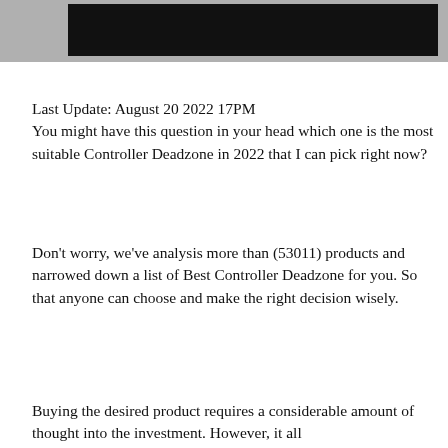[Figure (other): Black banner/header bar at top of page]
Last Update: August 20 2022 17PM
You might have this question in your head which one is the most suitable Controller Deadzone in 2022 that I can pick right now?
Don't worry, we've analysis more than (53011) products and narrowed down a list of Best Controller Deadzone for you. So that anyone can choose and make the right decision wisely.
Buying the desired product requires a considerable amount of thought into the investment. However, it all